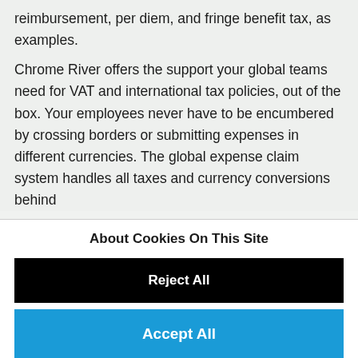reimbursement, per diem, and fringe benefit tax, as examples.
Chrome River offers the support your global teams need for VAT and international tax policies, out of the box. Your employees never have to be encumbered by crossing borders or submitting expenses in different currencies. The global expense claim system handles all taxes and currency conversions behind
About Cookies On This Site
Reject All
Accept All